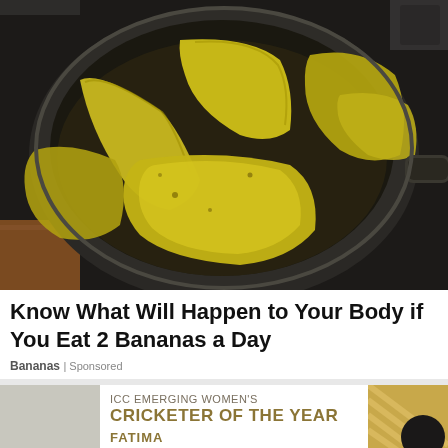[Figure (photo): Photo of sliced bananas cooking in a dark saucepan, viewed from above, on a stovetop.]
Know What Will Happen to Your Body if You Eat 2 Bananas a Day
Bananas | Sponsored
[Figure (infographic): Partially visible advertisement for ICC Emerging Women's Cricketer of the Year award featuring Fatima, with gold text on white background and a partial photo of the cricketer.]